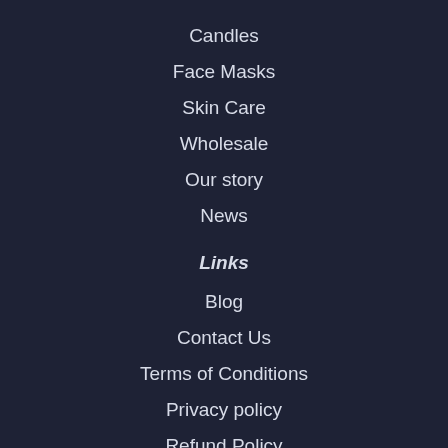Candles
Face Masks
Skin Care
Wholesale
Our story
News
Links
Blog
Contact Us
Terms of Conditions
Privacy policy
Refund Policy
Seguici